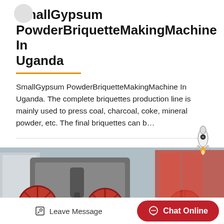SmallGypsum PowderBriquetteMakingMachine In Uganda
SmallGypsum PowderBriquetteMakingMachine In Uganda. The complete briquettes production line is mainly used to press coal, charcoal, coke, mineral powder, etc. The final briquettes can b…
[Figure (photo): Industrial briquette making machine with large red wheels/rollers and a central press mechanism, set in an industrial yard with equipment in the background.]
[Figure (illustration): Rocket ship emoji/icon in the top right area of the image section.]